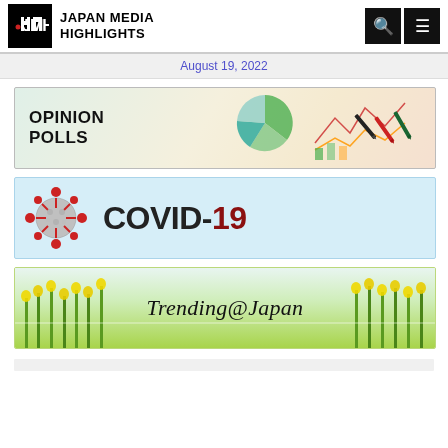JAPAN MEDIA HIGHLIGHTS
August 19, 2022
[Figure (illustration): Opinion Polls banner with charts and colored pens in background, bold text reading OPINION POLLS]
[Figure (illustration): COVID-19 banner with coronavirus particle image on left and bold COVID-19 text, on light blue background]
[Figure (illustration): Trending@Japan banner with green flowering plants in background and italic text reading Trending@Japan]